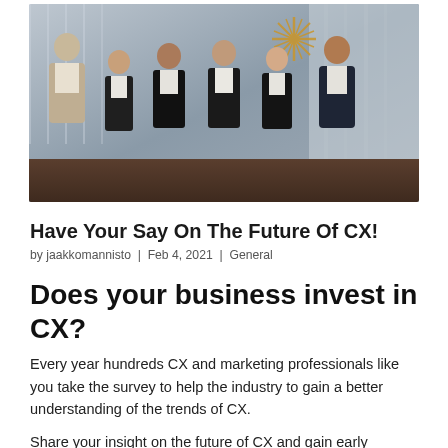[Figure (photo): Group photo of six business professionals (5 women, 1 man) standing together in a modern interior space with a decorative gold starburst chandelier in the background. The man on the left wears a beige blazer; the others wear dark blazers with white shirts.]
Have Your Say On The Future Of CX!
by jaakkomannisto | Feb 4, 2021 | General
Does your business invest in CX?
Every year hundreds CX and marketing professionals like you take the survey to help the industry to gain a better understanding of the trends of CX.
Share your insight on the future of CX and gain early